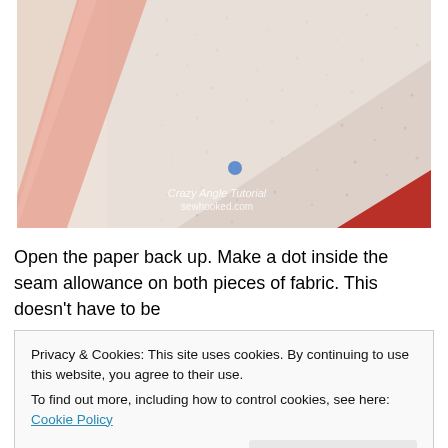[Figure (photo): Close-up photo of fabric pieces with a diagonal seam, showing paper pattern pieces laid against patterned fabric. A small blue dot is visible on the fabric near the seam. Watermark reads 'Crazy Angle Tutorial sewhooked.com'.]
Open the paper back up. Make a dot inside the seam allowance on both pieces of fabric. This doesn't have to be
Privacy & Cookies: This site uses cookies. By continuing to use this website, you agree to their use.
To find out more, including how to control cookies, see here: Cookie Policy